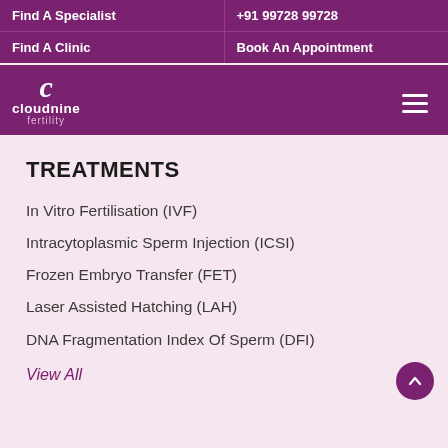Find A Specialist | +91 99728 99728
Find A Clinic | Book An Appointment
[Figure (logo): Cloudnine Fertility logo — stylized 'C' with text 'cloudnine fertility' on purple background with rounded bottom-right corner]
TREATMENTS
In Vitro Fertilisation (IVF)
Intracytoplasmic Sperm Injection (ICSI)
Frozen Embryo Transfer (FET)
Laser Assisted Hatching (LAH)
DNA Fragmentation Index Of Sperm (DFI)
View All